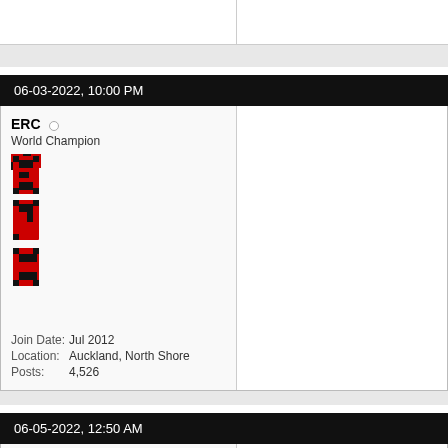|  |  |
06-03-2022, 10:00 PM
ERC
World Champion
Join Date: Jul 2012
Location: Auckland, North Shore
Posts: 4,526
[Figure (logo): ERC logo with red and black checkered pattern letters stacked vertically]
06-05-2022, 12:50 AM
ERC
World Champion
[Figure (logo): ERC logo with red and black checkered pattern letters stacked vertically (partial)]